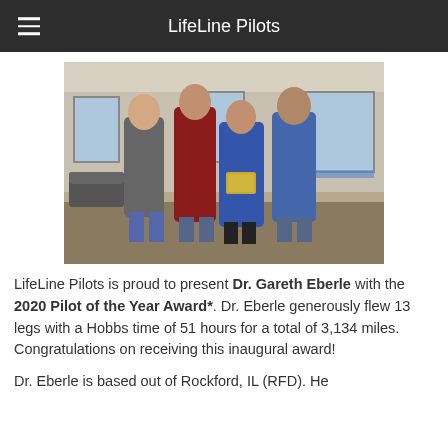LifeLine Pilots
[Figure (photo): Four people standing together indoors in a room with large windows. One person in a blue jacket is holding a plaque/award. The room appears to be an aviation facility lounge area.]
LifeLine Pilots is proud to present Dr. Gareth Eberle with the 2020 Pilot of the Year Award*. Dr. Eberle generously flew 13 legs with a Hobbs time of 51 hours for a total of 3,134 miles. Congratulations on receiving this inaugural award!
Dr. Eberle is based out of Rockford, IL (RFD). He